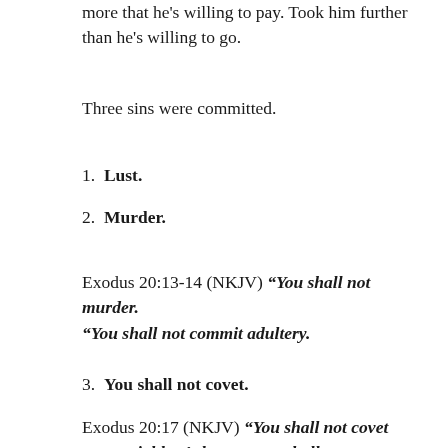more that he's willing to pay. Took him further than he's willing to go.
Three sins were committed.
1. Lust.
2. Murder.
Exodus 20:13-14 (NKJV) “You shall not murder. “You shall not commit adultery.
3. You shall not covet.
Exodus 20:17 (NKJV) “You shall not covet your neighbor’s house; you shall not covet your neighbor’s wife, nor his male servant, nor his female servant, nor his ox, nor his donkey,